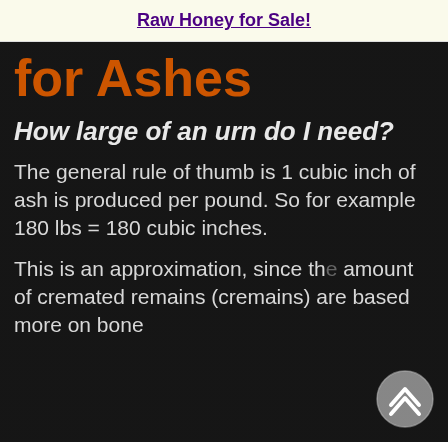Raw Honey for Sale!
for Ashes
How large of an urn do I need?
The general rule of thumb is 1 cubic inch of ash is produced per pound. So for example 180 lbs = 180 cubic inches.
This is an approximation, since the amount of cremated remains (cremains) are based more on bone